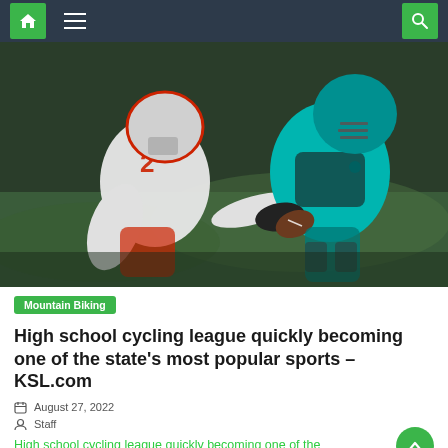Navigation bar with home, menu, and search icons
[Figure (photo): Two American football players in action — one in white jersey number 2 tackling another in teal/cyan jersey, night game setting with blurred green background]
Mountain Biking
High school cycling league quickly becoming one of the state's most popular sports – KSL.com
August 27, 2022
Staff
High school cycling league quickly becoming one of the